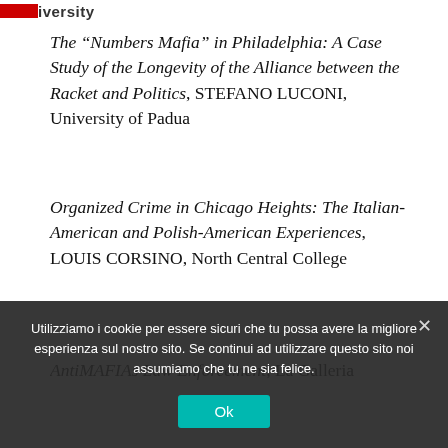iversity
The “Numbers Mafia” in Philadelphia: A Case Study of the Longevity of the Alliance between the Racket and Politics, STEFANO LUCONI, University of Padua
Organized Crime in Chicago Heights: The Italian-American and Polish-American Experiences, LOUIS CORSINO, North Central College
AntiMAFIAs Law Enforcement, La Galleria
Utilizziamo i cookie per essere sicuri che tu possa avere la migliore esperienza sul nostro sito. Se continui ad utilizzare questo sito noi assumiamo che tu ne sia felice.
Ok